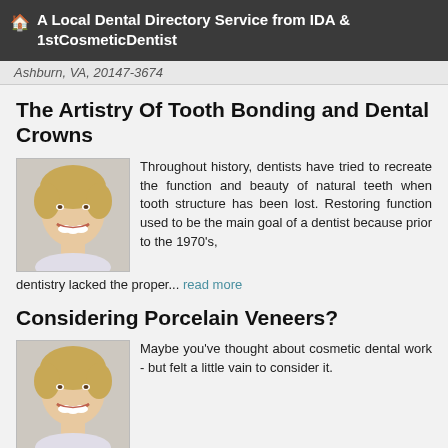A Local Dental Directory Service from IDA & 1stCosmeticDentist
Ashburn, VA, 20147-3674
The Artistry Of Tooth Bonding and Dental Crowns
[Figure (photo): Smiling woman with short blonde hair]
Throughout history, dentists have tried to recreate the function and beauty of natural teeth when tooth structure has been lost. Restoring function used to be the main goal of a dentist because prior to the 1970's, dentistry lacked the proper... read more
Considering Porcelain Veneers?
[Figure (photo): Smiling woman with short blonde hair]
Maybe you've thought about cosmetic dental work - but felt a little vain to consider it.
Or the appearance of your teeth never bothered you much, because your dental health is pretty good.